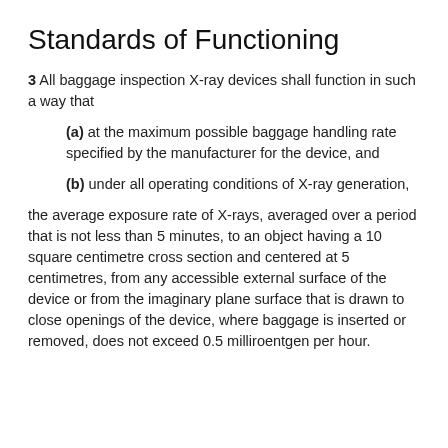Standards of Functioning
3 All baggage inspection X-ray devices shall function in such a way that
(a) at the maximum possible baggage handling rate specified by the manufacturer for the device, and
(b) under all operating conditions of X-ray generation,
the average exposure rate of X-rays, averaged over a period that is not less than 5 minutes, to an object having a 10 square centimetre cross section and centered at 5 centimetres, from any accessible external surface of the device or from the imaginary plane surface that is drawn to close openings of the device, where baggage is inserted or removed, does not exceed 0.5 milliroentgen per hour.